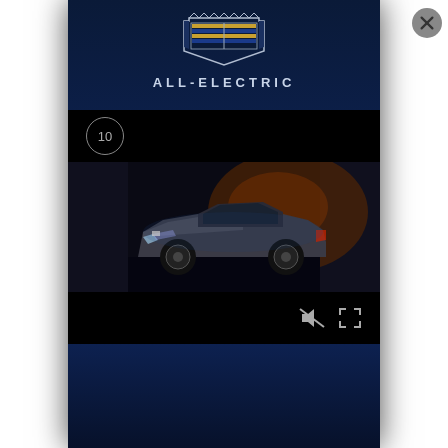[Figure (screenshot): Cadillac All-Electric promotional page with logo, ALL-ELECTRIC text, and a video player showing a dark silver Cadillac EV in a dramatic lit stage setting. The video player has a black top bar with a circled number 10, the car image in the middle, and a black bottom bar with mute and fullscreen icons. Background is dark navy blue. A close (X) button appears in the upper right corner.]